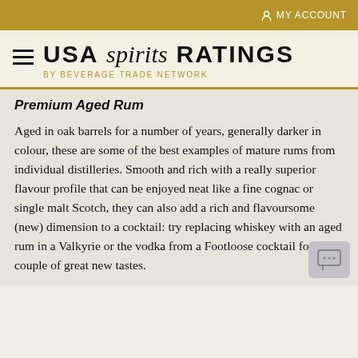MY ACCOUNT
USA spirits RATINGS by BEVERAGE TRADE NETWORK
Premium Aged Rum
Aged in oak barrels for a number of years, generally darker in colour, these are some of the best examples of mature rums from individual distilleries. Smooth and rich with a really superior flavour profile that can be enjoyed neat like a fine cognac or single malt Scotch, they can also add a rich and flavoursome (new) dimension to a cocktail: try replacing whiskey with an aged rum in a Valkyrie or the vodka from a Footloose cocktail for a couple of great new tastes.